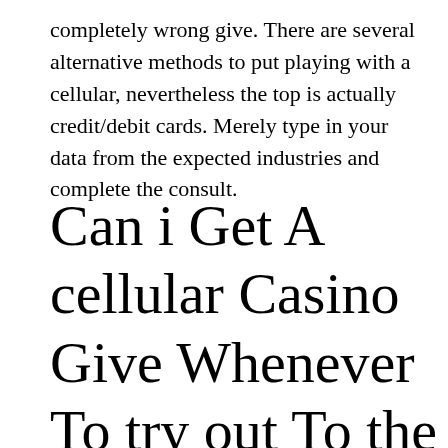completely wrong give. There are several alternative methods to put playing with a cellular, nevertheless the top is actually credit/debit cards. Merely type in your data from the expected industries and complete the consult.
Can i Get A cellular Casino Give Whenever To try out To the Cellular? | https://mrbetreview.com